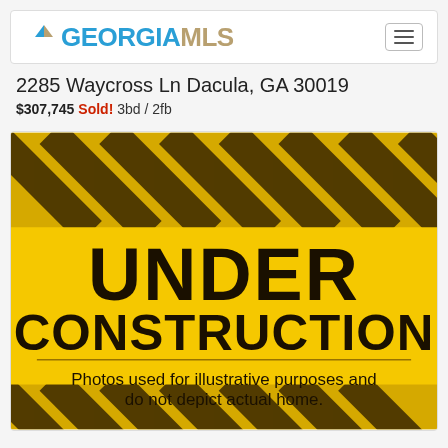GEORGIA MLS
2285 Waycross Ln Dacula, GA 30019
$307,745 Sold! 3bd / 2fb
[Figure (photo): Under Construction sign with yellow and black diagonal warning stripes. Large bold text reads 'UNDER CONSTRUCTION'. Below a horizontal line: 'Photos used for illustrative purposes and do not depict actual home.']